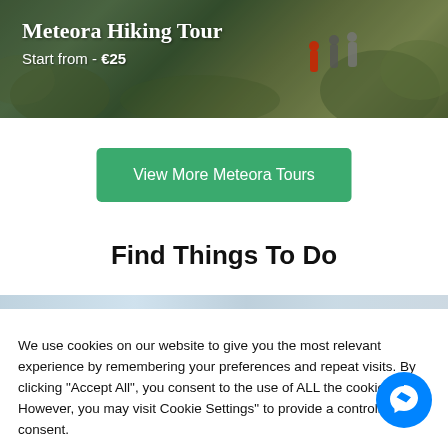[Figure (photo): Hero image of a Meteora hiking tour showing people hiking through green rocky landscape with text overlay]
Meteora Hiking Tour
Start from - €25
View More Meteora Tours
Find Things To Do
We use cookies on our website to give you the most relevant experience by remembering your preferences and repeat visits. By clicking "Accept All", you consent to the use of ALL the cookies. However, you may visit Cookie Settings" to provide a controlled consent.
Cookie Settings
Accept All